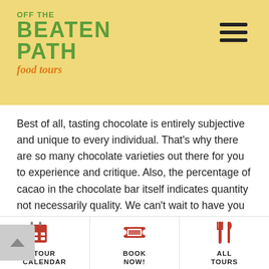[Figure (logo): Off The Beaten Path Food Tours logo — green bold stacked text with orange italic script below]
Best of all, tasting chocolate is entirely subjective and unique to every individual. That's why there are so many chocolate varieties out there for you to experience and critique. Also, the percentage of cacao in the chocolate bar itself indicates quantity not necessarily quality. We can't wait to have you on a future Chocolate Tour and explore a variety of options
TOUR CALENDAR
BOOK NOW!
ALL TOURS